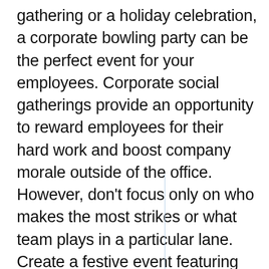gathering or a holiday celebration, a corporate bowling party can be the perfect event for your employees. Corporate social gatherings provide an opportunity to reward employees for their hard work and boost company morale outside of the office. However, don't focus only on who makes the most strikes or what team plays in a particular lane. Create a festive event featuring decorations focused on bowling.